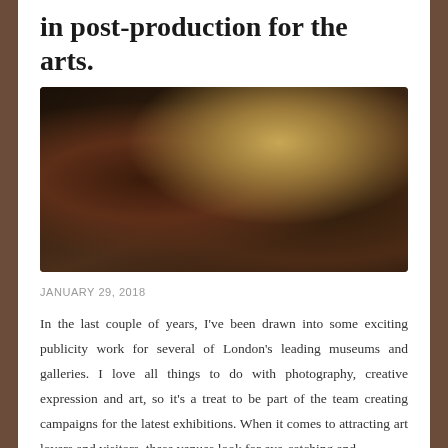in post-production for the arts.
[Figure (photo): Digital art / CGI image of a dramatic bronze-gold female figure holding a flag with hammer and sickle motifs, set against a dark moody background, with flowing golden hair and ornate mechanical elements.]
JANUARY 29, 2018
In the last couple of years, I've been drawn into some exciting publicity work for several of London's leading museums and galleries. I love all things to do with photography, creative expression and art, so it's a treat to be part of the team creating campaigns for the latest exhibitions. When it comes to attracting art lovers and visitors, these venues look for eye-catching and